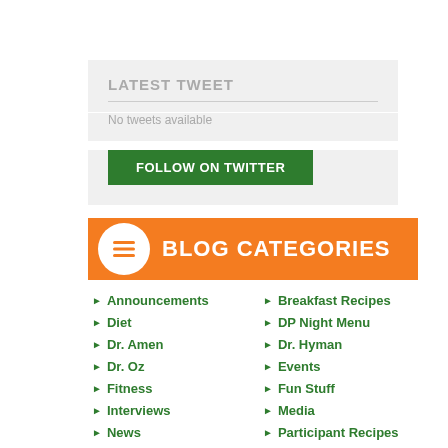LATEST TWEET
No tweets available
FOLLOW ON TWITTER
BLOG CATEGORIES
Announcements
Diet
Dr. Amen
Dr. Oz
Fitness
Interviews
News
Rally
Supplements
Tom Wilson
Week 10
Week 12
Breakfast Recipes
DP Night Menu
Dr. Hyman
Events
Fun Stuff
Media
Participant Recipes
Stories
The Plan
Week 1
Week 11
Week 13